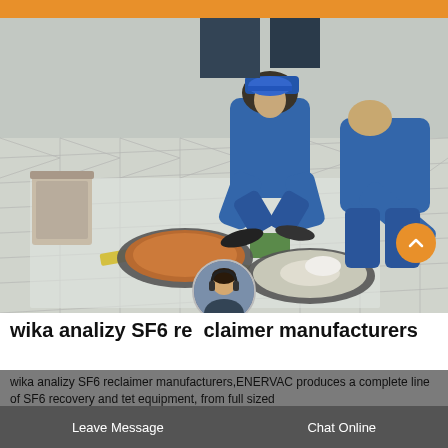[Figure (photo): Two workers in blue overalls and hard hats kneeling on a tiled outdoor floor working on circular industrial equipment (SF6 gas equipment), with a metal bucket nearby and plastic sheeting on the ground.]
wika analizy SF6 reclaimer manufacturers
wika analizy SF6 reclaimer manufacturers,ENERVAC produces a complete line of SF6 recovery and test equipment, from full sized